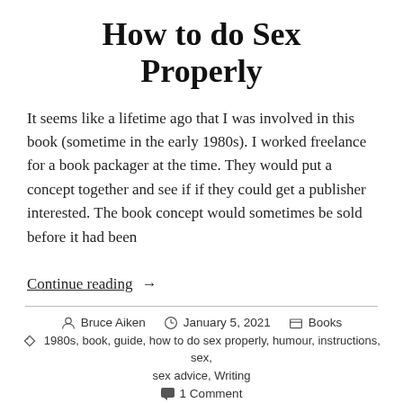How to do Sex Properly
It seems like a lifetime ago that I was involved in this book (sometime in the early 1980s). I worked freelance for a book packager at the time. They would put a concept together and see if if they could get a publisher interested. The book concept would sometimes be sold before it had been
Continue reading  →
Bruce Aiken  January 5, 2021  Books  1980s, book, guide, how to do sex properly, humour, instructions, sex, sex advice, Writing  1 Comment